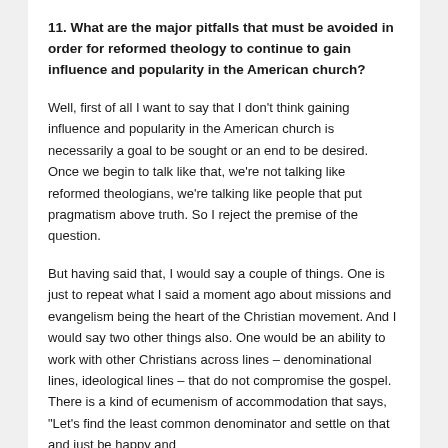11. What are the major pitfalls that must be avoided in order for reformed theology to continue to gain influence and popularity in the American church?
Well, first of all I want to say that I don't think gaining influence and popularity in the American church is necessarily a goal to be sought or an end to be desired. Once we begin to talk like that, we're not talking like reformed theologians, we're talking like people that put pragmatism above truth. So I reject the premise of the question.
But having said that, I would say a couple of things. One is just to repeat what I said a moment ago about missions and evangelism being the heart of the Christian movement. And I would say two other things also. One would be an ability to work with other Christians across lines – denominational lines, ideological lines – that do not compromise the gospel. There is a kind of ecumenism of accommodation that says, "Let's find the least common denominator and settle on that and just be happy and